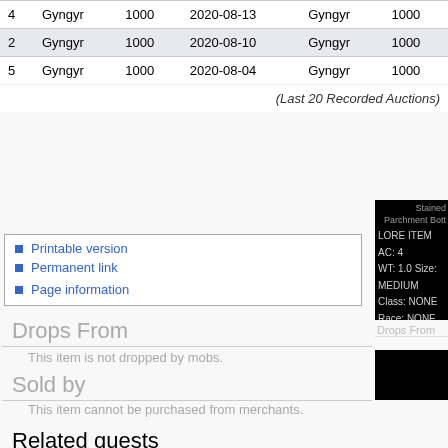|  |  | 1000 | 2020-08-13 | Gyngyr | 1000 |
| --- | --- | --- | --- | --- | --- |
| 4 | Gyngyr | 1000 | 2020-08-13 | Gyngyr | 1000 |
| 2 | Gyngyr | 1000 | 2020-08-10 | Gyngyr | 1000 |
| 5 | Gyngyr | 1000 | 2020-08-04 | Gyngyr | 1000 |
(Last 20 Recorded Auctions)
Printable version
Permanent link
Page information
[Figure (screenshot): Item info box showing: Stained Parchment Bott... LORE ITEM AC: 4 WT: 1.0 Size: MEDIUM Class: NONE Race: NONE]
Drops From
This item is not dropped by mobs.
Sold by
This item cannot be purchased from merchants.
Related quests